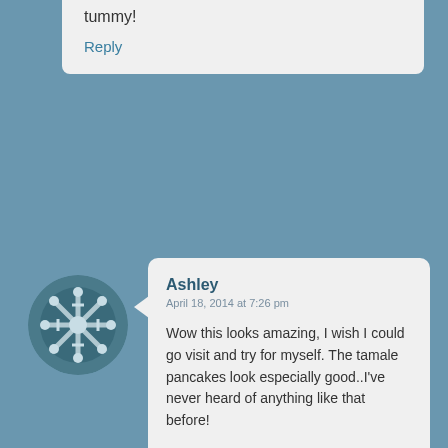tummy!
Reply
[Figure (illustration): User avatar: circular snowflake/geometric pattern on dark teal background]
Ashley
April 18, 2014 at 7:26 pm
Wow this looks amazing, I wish I could go visit and try for myself. The tamale pancakes look especially good..I've never heard of anything like that before!
Reply
Advertisements